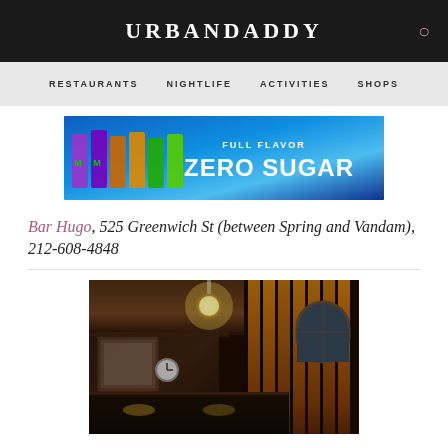URBANDADDY
RESTAURANTS  NIGHTLIFE  ACTIVITIES  SHOPS
[Figure (photo): Monster Energy drink advertisement: Full Flavor Zero Sugar, colorful cans on ice with blue background]
Bar Hugo, 525 Greenwich St (between Spring and Vandam), 212-608-4848
[Figure (photo): Interior photo of Bar Hugo showing dark wood bar counter, warm amber-lit wood panel walls, pendant light fixture, arched window, and vintage mirror]